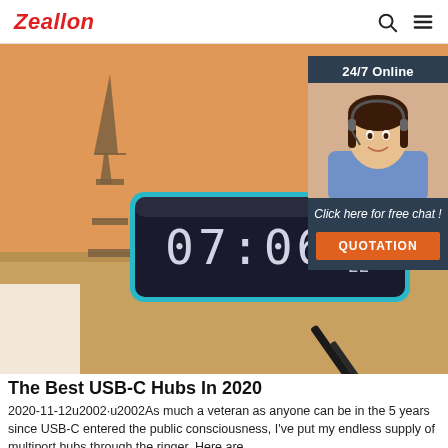Zeallon
[Figure (photo): Hero image showing a teal/blue digital alarm clock displaying 07:06, with T&G 22 text, placed on a wooden desk with a small Eiffel Tower figurine, pen, and notebook in the background. An orange/warm-toned room background. A 24/7 Online chat widget with a customer service agent photo overlays the top right.]
The Best USB-C Hubs In 2020
2020-11-12u2002·u2002As much a veteran as anyone can be in the 5 years since USB-C entered the public consciousness, I've put my endless supply of multiport hubs through the ringer. Here are